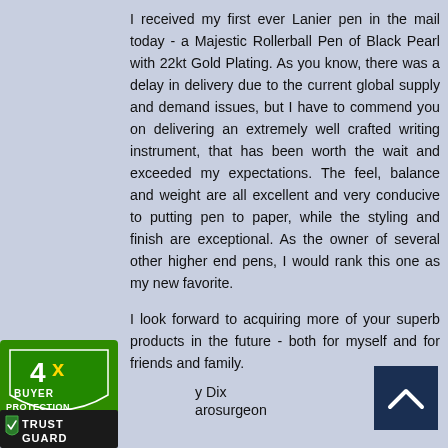I received my first ever Lanier pen in the mail today - a Majestic Rollerball Pen of Black Pearl with 22kt Gold Plating. As you know, there was a delay in delivery due to the current global supply and demand issues, but I have to commend you on delivering an extremely well crafted writing instrument, that has been worth the wait and exceeded my expectations. The feel, balance and weight are all excellent and very conducive to putting pen to paper, while the styling and finish are exceptional. As the owner of several other higher end pens, I would rank this one as my new favorite.

I look forward to acquiring more of your superb products in the future - both for myself and for friends and family.
y Dix
arosurgeon
[Figure (logo): 4x Buyer Protection badge - green shield logo with '4x BUYER PROTECTION' text]
[Figure (logo): Trust Guard badge with shield icon and 'TRUST GUARD' text]
[Figure (other): Dark navy blue scroll-to-top button with white chevron/caret pointing up]